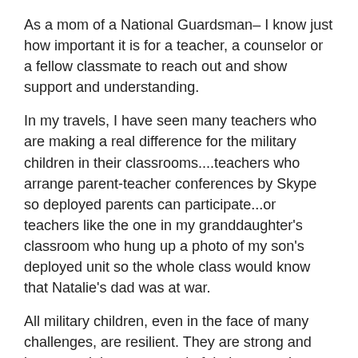As a mom of a National Guardsman– I know just how important it is for a teacher, a counselor or a fellow classmate to reach out and show support and understanding.
In my travels, I have seen many teachers who are making a real difference for the military children in their classrooms....teachers who arrange parent-teacher conferences by Skype so deployed parents can participate...or teachers like the one in my granddaughter's classroom who hung up a photo of my son's deployed unit so the whole class would know that Natalie's dad was at war.
All military children, even in the face of many challenges, are resilient. They are strong and brave, and they are proud of their parents' service -- and they deserve the very best.
OJJDP has a long history of providing mentoring services to youth – and a strong mentor can make all of the difference in the lives of our military children.
Chances are that all of you in the audience touch military families in one way or another. While they don't wear